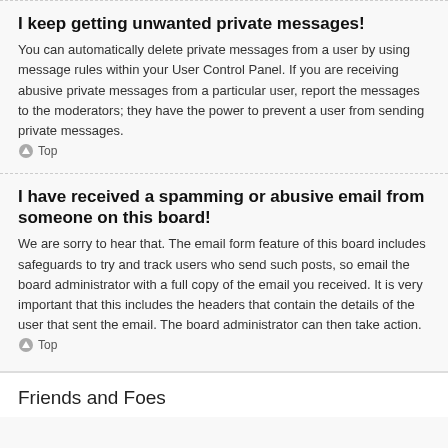I keep getting unwanted private messages!
You can automatically delete private messages from a user by using message rules within your User Control Panel. If you are receiving abusive private messages from a particular user, report the messages to the moderators; they have the power to prevent a user from sending private messages.
Top
I have received a spamming or abusive email from someone on this board!
We are sorry to hear that. The email form feature of this board includes safeguards to try and track users who send such posts, so email the board administrator with a full copy of the email you received. It is very important that this includes the headers that contain the details of the user that sent the email. The board administrator can then take action.
Top
Friends and Foes